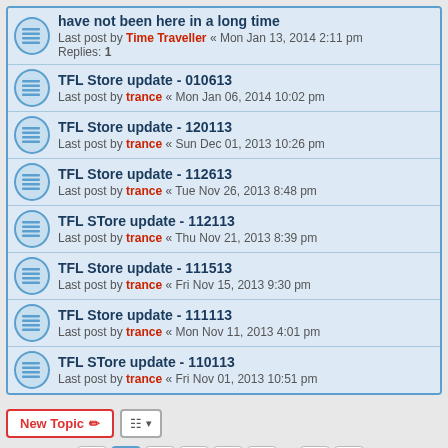have not been here in a long time
Last post by Time Traveller « Mon Jan 13, 2014 2:11 pm
Replies: 1
TFL Store update - 010613
Last post by trance « Mon Jan 06, 2014 10:02 pm
TFL Store update - 120113
Last post by trance « Sun Dec 01, 2013 10:26 pm
TFL Store update - 112613
Last post by trance « Tue Nov 26, 2013 8:48 pm
TFL STore update - 112113
Last post by trance « Thu Nov 21, 2013 8:39 pm
TFL Store update - 111513
Last post by trance « Fri Nov 15, 2013 9:30 pm
TFL Store update - 111113
Last post by trance « Mon Nov 11, 2013 4:01 pm
TFL STore update - 110113
Last post by trance « Fri Nov 01, 2013 10:51 pm
New Topic | 494 topics | 1 2 3 4 5 ... 10 | Jump to